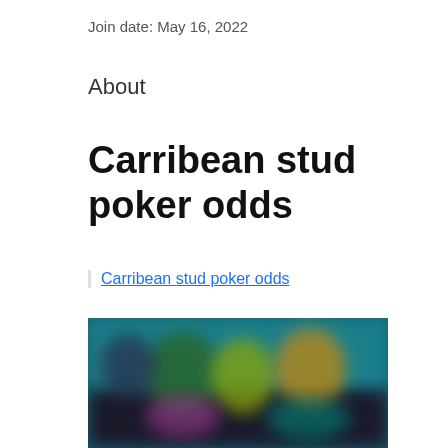Join date: May 16, 2022
About
Carribean stud poker odds
Carribean stud poker odds
[Figure (photo): Blurred screenshot of an online casino or gaming interface with colorful animated characters on a teal/dark background]